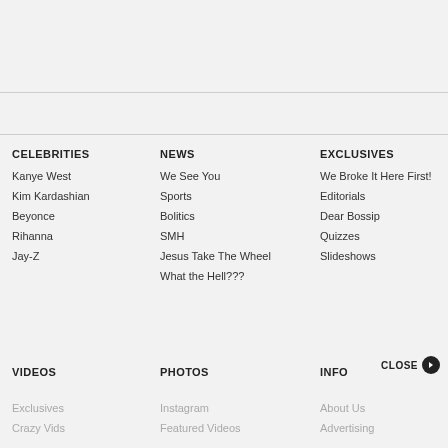CELEBRITIES
Kanye West
Kim Kardashian
Beyonce
Rihanna
Jay-Z
NEWS
We See You
Sports
Bolitics
SMH
Jesus Take The Wheel
What the Hell???
EXCLUSIVES
We Broke It Here First!
Editorials
Dear Bossip
Quizzes
Slideshows
VIDEOS
PHOTOS
INFO
Exclusives
Instagram
About Us
Crazy Vids
Featured Videos
Advertising